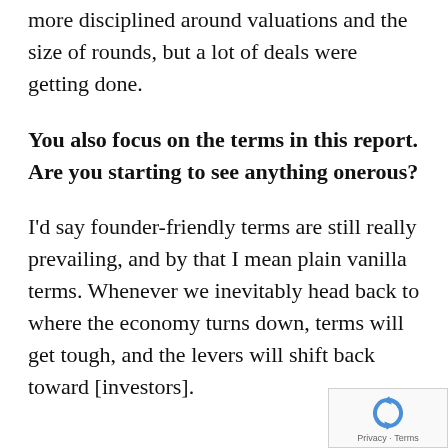more disciplined around valuations and the size of rounds, but a lot of deals were getting done.
You also focus on the terms in this report. Are you starting to see anything onerous?
I'd say founder-friendly terms are still really prevailing, and by that I mean plain vanilla terms. Whenever we inevitably head back to where the economy turns down, terms will get tough, and the levers will shift back toward [investors].